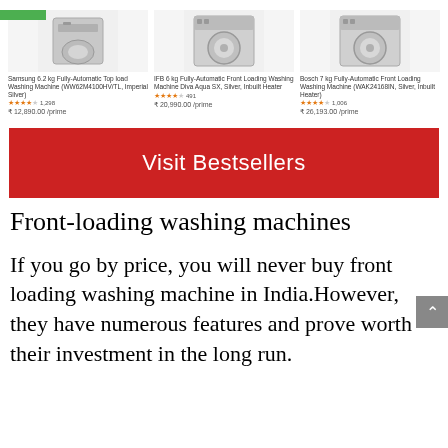[Figure (screenshot): Three product listings for washing machines on Amazon India. Product 1: Samsung 6.2 kg Fully-Automatic Top load Washing Machine (WW62M4100HV/TL, Imperial Silver), 3.5 stars, 1,298 reviews, ₹12,890.00 /prime. Product 2: IFB 6 kg Fully-Automatic Front Loading Washing Machine Diva Aqua SX, Silver, Inbuilt Heater, 4 stars, 491 reviews, ₹20,990.00 /prime. Product 3: Bosch 7 kg Fully-Automatic Front Loading Washing Machine (WAK24168IN, Silver, Inbuilt Heater), 4 stars, 1,006 reviews, ₹26,193.00 /prime.]
[Figure (screenshot): Red button labeled 'Visit Bestsellers']
Front-loading washing machines
If you go by price, you will never buy front loading washing machine in India.However, they have numerous features and prove worth their investment in the long run.